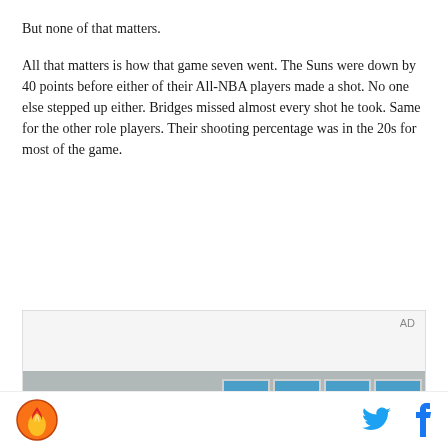But none of that matters.
All that matters is how that game seven went. The Suns were down by 40 points before either of their All-NBA players made a shot. No one else stepped up either. Bridges missed almost every shot he took. Same for the other role players. Their shooting percentage was in the 20s for most of the game.
[Figure (photo): Advertisement placeholder with photo of a young man indoors with large windows visible in the background]